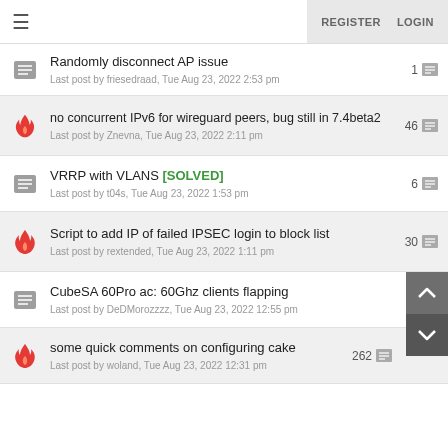≡  REGISTER  LOGIN
Randomly disconnect AP issue
Last post by friesedraad, Tue Aug 23, 2022 2:53 pm  1
no concurrent IPv6 for wireguard peers, bug still in 7.4beta2
Last post by Znevna, Tue Aug 23, 2022 2:11 pm  46
VRRP with VLANS [SOLVED]
Last post by t04s, Tue Aug 23, 2022 1:53 pm  6
Script to add IP of failed IPSEC login to block list
Last post by rextended, Tue Aug 23, 2022 1:11 pm  30
CubeSA 60Pro ac: 60Ghz clients flapping
Last post by DeDMorozzzz, Tue Aug 23, 2022 12:55 pm  4
some quick comments on configuring cake
Last post by woland, Tue Aug 23, 2022 12:31 pm  262